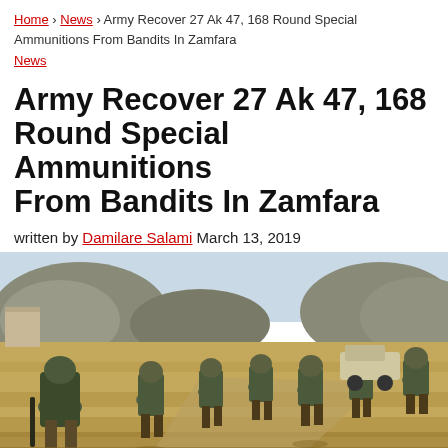Home › News › Army Recover 27 Ak 47, 168 Round Special Ammunitions From Bandits In Zamfara News
Army Recover 27 Ak 47, 168 Round Special Ammunitions From Bandits In Zamfara
written by Damilare Salami  March 13, 2019
[Figure (photo): Nigerian soldiers in camouflage uniforms standing and walking on a dusty open ground with rocky hills in the background, midday sun, carrying weapons]